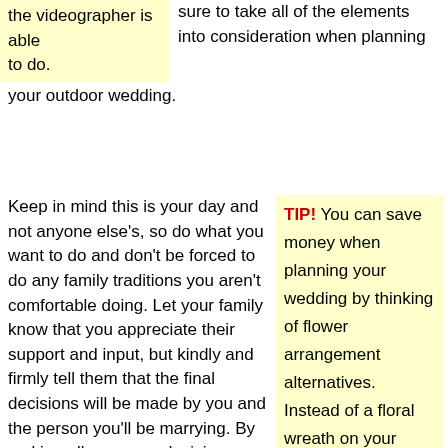the videographer is able to do.
sure to take all of the elements into consideration when planning your outdoor wedding.
Keep in mind this is your day and not anyone else's, so do what you want to do and don't be forced to do any family traditions you aren't comfortable doing. Let your family know that you appreciate their support and input, but kindly and firmly tell them that the final decisions will be made by you and the person you'll be marrying. By making all your own decisions about your wedding day, you will be able remember the special occasion without any regrets in the future.
TIP! You can save money when planning your wedding by thinking of flower arrangement alternatives. Instead of a floral wreath on your flower girl, try using ribbons for a look that is elegant but still cost effective.